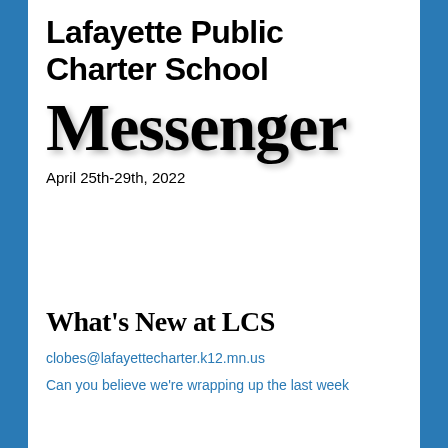Lafayette Public Charter School
Messenger
April 25th-29th, 2022
What's New at LCS
clobes@lafayettecharter.k12.mn.us
Can you believe we're wrapping up the last week